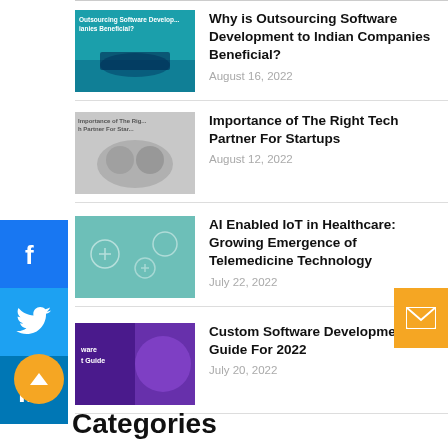[Figure (screenshot): Blog listing page showing 4 articles with thumbnails, social share buttons (Facebook, Twitter, LinkedIn), email button, scroll-to-top button, and Categories heading]
Why is Outsourcing Software Development to Indian Companies Beneficial?
August 16, 2022
Importance of The Right Tech Partner For Startups
August 12, 2022
AI Enabled IoT in Healthcare: Growing Emergence of Telemedicine Technology
July 22, 2022
Custom Software Development Guide For 2022
July 20, 2022
Categories